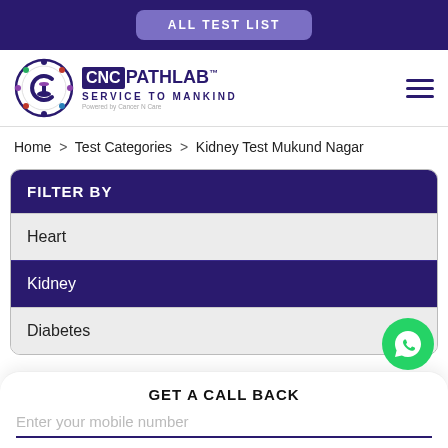ALL TEST LIST
[Figure (logo): CNC Pathlab logo with circular emblem and text 'SERVICE TO MANKIND']
Home > Test Categories > Kidney Test Mukund Nagar
FILTER BY
Heart
Kidney
Diabetes
GET A CALL BACK
Enter your mobile number